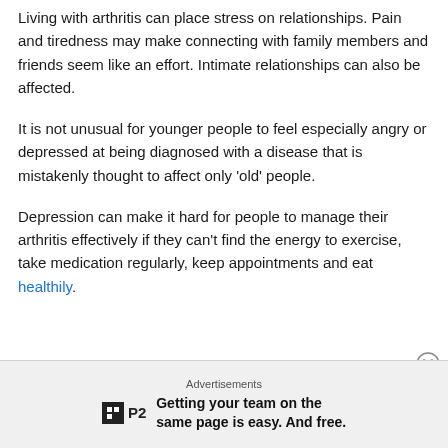Living with arthritis can place stress on relationships. Pain and tiredness may make connecting with family members and friends seem like an effort. Intimate relationships can also be affected.
It is not unusual for younger people to feel especially angry or depressed at being diagnosed with a disease that is mistakenly thought to affect only 'old' people.
Depression can make it hard for people to manage their arthritis effectively if they can't find the energy to exercise, take medication regularly, keep appointments and eat healthily.
Advertisements
[Figure (other): P2 advertisement logo with text: Getting your team on the same page is easy. And free.]